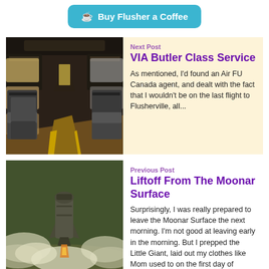Buy Flusher a Coffee
Next Post
VIA Butler Class Service
As mentioned, I'd found an Air FU Canada agent, and dealt with the fact that I wouldn't be on the last flight to Flusherville, all...
[Figure (photo): Interior of a train car with rows of seats and aisle]
Previous Post
Liftoff From The Moonar Surface
Surprisingly, I was really prepared to leave the Moonar Surface the next morning. I'm not good at leaving early in the morning. But I prepped the Little Giant, laid out my clothes like Mom used to on the first day of
[Figure (photo): A spacecraft or rocket launching from a moonar surface with smoke clouds]